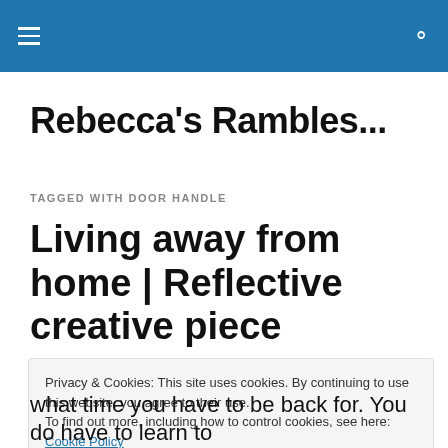Rebecca's Rambles... [navigation bar with hamburger menu and search icon]
Rebecca's Rambles...
TAGGED WITH DOOR HANDLE
Living away from home | Reflective creative piece
Privacy & Cookies: This site uses cookies. By continuing to use this website, you agree to their use. To find out more, including how to control cookies, see here: Cookie Policy
what time you have to be back for. You do have to learn to